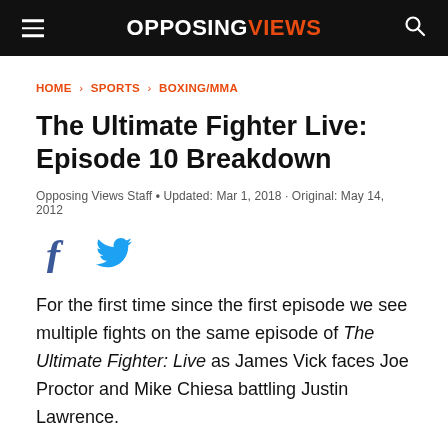OPPOSING VIEWS
HOME › SPORTS › BOXING/MMA
The Ultimate Fighter Live: Episode 10 Breakdown
Opposing Views Staff • Updated: Mar 1, 2018 · Original: May 14, 2012
[Figure (other): Social sharing icons: Facebook and Twitter]
For the first time since the first episode we see multiple fights on the same episode of The Ultimate Fighter: Live as James Vick faces Joe Proctor and Mike Chiesa battling Justin Lawrence.